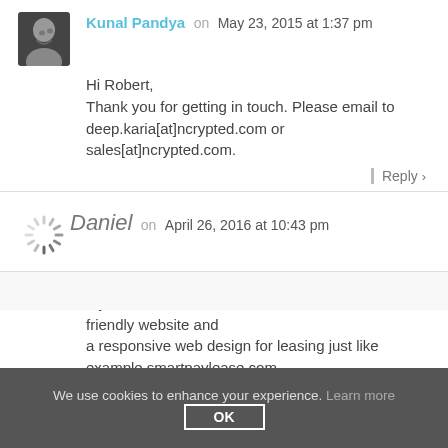[Figure (photo): Profile photo of Kunal Pandya, a man smiling]
Kunal Pandya on May 23, 2015 at 1:37 pm
Hi Robert,
Thank you for getting in touch. Please email to deep.karia[at]ncrypted.com or sales[at]ncrypted.com.
Reply ›
[Figure (illustration): Loading spinner icon (gray radial lines)]
Daniel on April 26, 2016 at 10:43 pm
hello
my name is daniel,..i would love to start a mobile friendly website and
a responsive web design for leasing just like example smartpaylease.com
Reply ›
We use cookies to enhance your experience. Learn more
OK